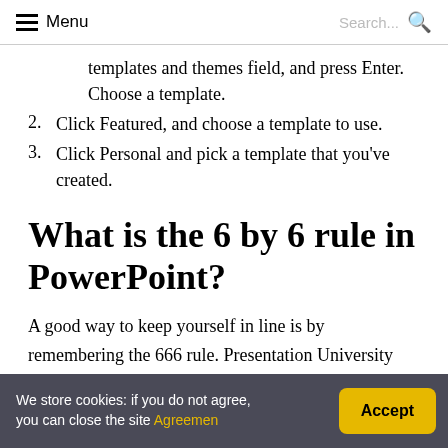Menu   Search...
templates and themes field, and press Enter. Choose a template.
2.  Click Featured, and choose a template to use.
3.  Click Personal and pick a template that you've created.
What is the 6 by 6 rule in PowerPoint?
A good way to keep yourself in line is by remembering the 666 rule. Presentation University recommends slides shave no more than six words per bullet, six bullets per image and
We store cookies: if you do not agree, you can close the site Agreemen